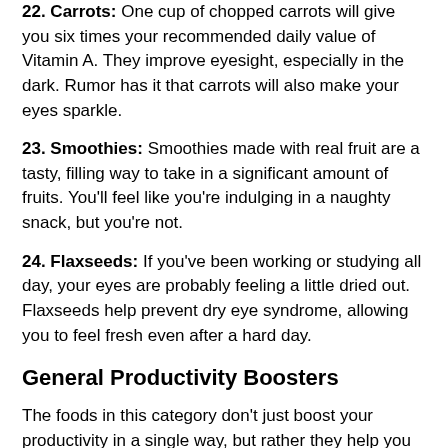22. Carrots: One cup of chopped carrots will give you six times your recommended daily value of Vitamin A. They improve eyesight, especially in the dark. Rumor has it that carrots will also make your eyes sparkle.
23. Smoothies: Smoothies made with real fruit are a tasty, filling way to take in a significant amount of fruits. You’ll feel like you’re indulging in a naughty snack, but you’re not.
24. Flaxseeds: If you’ve been working or studying all day, your eyes are probably feeling a little dried out. Flaxseeds help prevent dry eye syndrome, allowing you to feel fresh even after a hard day.
General Productivity Boosters
The foods in this category don’t just boost your productivity in a single way, but rather they help you across multiple categories.
25. Salmon: Not just a fish dish delicacy, a single serving of salmon is also full of healthy benefits. Low in calories but high in important omega 3 fatty acids and protein, salmon